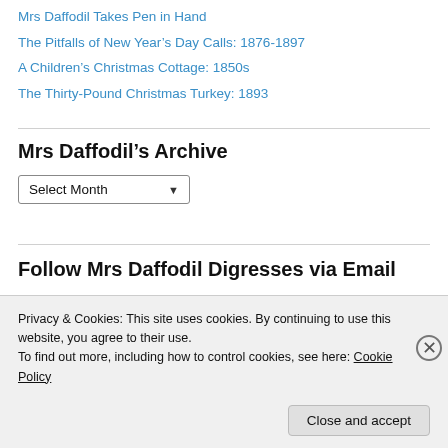Mrs Daffodil Takes Pen in Hand
The Pitfalls of New Year's Day Calls: 1876-1897
A Children's Christmas Cottage: 1850s
The Thirty-Pound Christmas Turkey: 1893
Mrs Daffodil's Archive
Select Month
Follow Mrs Daffodil Digresses via Email
Privacy & Cookies: This site uses cookies. By continuing to use this website, you agree to their use. To find out more, including how to control cookies, see here: Cookie Policy
Close and accept